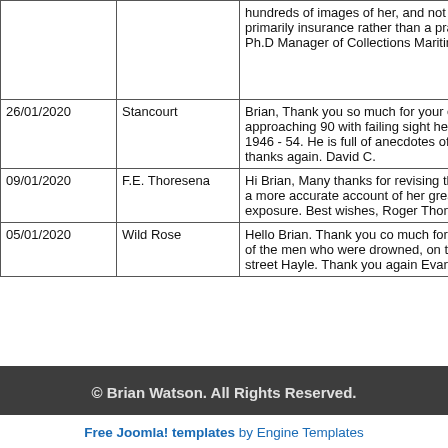| Date | Subject | Message |
| --- | --- | --- |
|  |  | hundreds of images of her, and not on... primarily insurance rather than a prac... Ph.D Manager of Collections Maritime |
| 26/01/2020 | Stancourt | Brian, Thank you so much for your em... approaching 90 with failing sight he h... 1946 - 54. He is full of anecdotes of th... thanks again. David C. |
| 09/01/2020 | F.E. Thoresena | Hi Brian, Many thanks for revising the... a more accurate account of her great-... exposure. Best wishes, Roger Thomas |
| 05/01/2020 | Wild Rose | Hello Brian. Thank you co much for yo... of the men who were drowned, on the... street Hayle. Thank you again Evan. |
© Brian Watson. All Rights Reserved.
Free Joomla! templates by Engine Templates